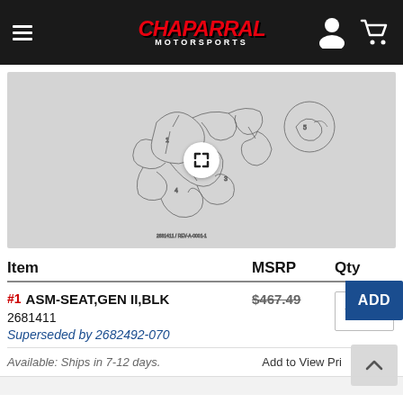Chaparral Motorsports
[Figure (engineering-diagram): Exploded parts diagram of motorcycle seat assembly, black and white line drawing on gray background, with expand/fullscreen button in center]
| Item | MSRP | Qty |
| --- | --- | --- |
| #1  ASM-SEAT,GEN II,BLK
2681411
Superseded by 2682492-070 | $467.49 |  |
Available: Ships in 7-12 days.
Add to View Pri